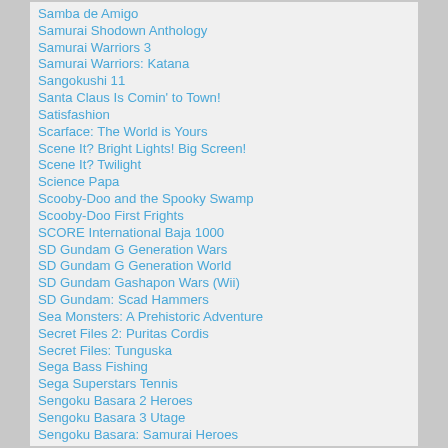Samba de Amigo
Samurai Shodown Anthology
Samurai Warriors 3
Samurai Warriors: Katana
Sangokushi 11
Santa Claus Is Comin' to Town!
Satisfashion
Scarface: The World is Yours
Scene It? Bright Lights! Big Screen!
Scene It? Twilight
Science Papa
Scooby-Doo and the Spooky Swamp
Scooby-Doo First Frights
SCORE International Baja 1000
SD Gundam G Generation Wars
SD Gundam G Generation World
SD Gundam Gashapon Wars (Wii)
SD Gundam: Scad Hammers
Sea Monsters: A Prehistoric Adventure
Secret Files 2: Puritas Cordis
Secret Files: Tunguska
Sega Bass Fishing
Sega Superstars Tennis
Sengoku Basara 2 Heroes
Sengoku Basara 3 Utage
Sengoku Basara: Samurai Heroes
Sengoku Musou 3 Moushouden
Sesame Street: Cookie's Counting Carnival
Sesame Street: Elmo's A-to-Zoo Adventure